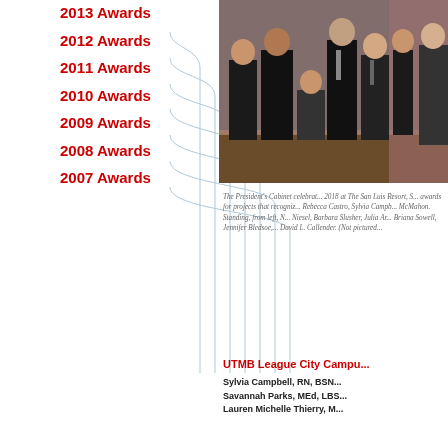2013 Awards
2012 Awards
2011 Awards
2010 Awards
2009 Awards
2008 Awards
2007 Awards
[Figure (photo): Group photo at The President's Cabinet celebration at The San Luis Resort, showing award recipients and standing members.]
The President's Cabinet celebrated in 2018 at The San Luis Resort, S... awards for projects that recogniz... Rebecca Castro, Sylvia Campb... McMahon. Standing, from left, N... Niesel, Barbara Slusher, Julia Ar... Briana Sowell, Jennifer Bledsoe,... David L. Callender. (Not pictured...
UTMB League City Campu...
Sylvia Campbell, RN, BSN...
Savannah Parks, MEd, LBS...
Lauren Michelle Thierry, M...